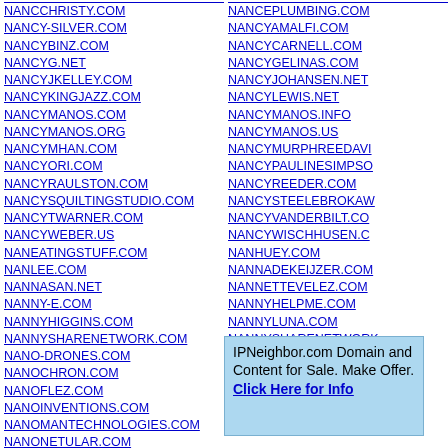NANCCHRISTY.COM
NANCY-SILVER.COM
NANCYBINZ.COM
NANCYG.NET
NANCYJKELLEY.COM
NANCYKINGJAZZ.COM
NANCYMANOS.COM
NANCYMANOS.ORG
NANCYMHAN.COM
NANCYORI.COM
NANCYRAULSTON.COM
NANCYSQUILTINGSTUDIO.COM
NANCYTWARNER.COM
NANCYWEBER.US
NANEATINGSTUFF.COM
NANLEE.COM
NANNASAN.NET
NANNY-E.COM
NANNYHIGGINS.COM
NANNYSHARENETWORK.COM
NANO-DRONES.COM
NANOCHRON.COM
NANOFLEZ.COM
NANOINVENTIONS.COM
NANOMANTECHNOLOGIES.COM
NANONETULAR.COM
NANOSKATECO.COM
NANOWATERSOFT.COM
NANCEPLUMBING.COM
NANCYAMALFI.COM
NANCYCARNELL.COM
NANCYGELINAS.COM
NANCYJOHANSEN.NET
NANCYLEWIS.NET
NANCYMANOS.INFO
NANCYMANOS.US
NANCYMURPHREEDAVI...
NANCYPAULINESIMPSO...
NANCYREEDER.COM
NANCYSTEELEBROKAW...
NANCYVANDERBILT.CO...
NANCYWISCHHUSEN.C...
NANHUEY.COM
NANNADEKEIJZER.COM...
NANNETTEVELEZ.COM
NANNYHELPME.COM
NANNYLUNA.COM
NANNYSHARENETWORK...
NANO-ISSUE.NET
NANOCLIPZ.COM
NANOINFORCE.COM
IPNeighbor.com Domain and Content for Sale. Make Offer. Click Here for Info